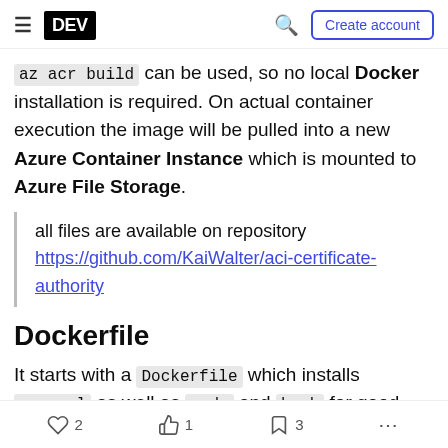DEV — Create account
az acr build can be used, so no local Docker installation is required. On actual container execution the image will be pulled into a new Azure Container Instance which is mounted to Azure File Storage.
all files are available on repository https://github.com/KaiWalter/aci-certificate-authority
Dockerfile
It starts with a Dockerfile which installs openssl as well as sudo and bash for good measure. I chose nginx because I might need to process HTTP(s)
2  1  3  ...